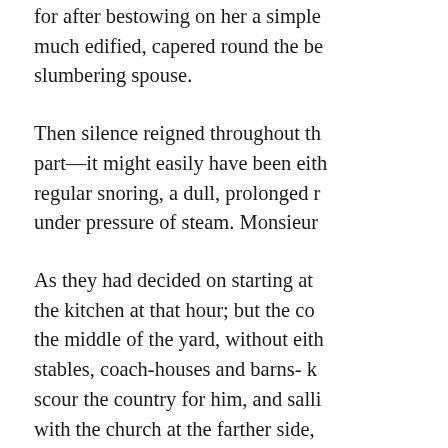for after bestowing on her a simple much edified, capered round the be slumbering spouse.

Then silence reigned throughout th part—it might easily have been eith regular snoring, a dull, prolonged r under pressure of steam. Monsieur

As they had decided on starting at the kitchen at that hour; but the co the middle of the yard, without eith stables, coach-houses and barns- k scour the country for him, and salli with the church at the farther side, there were some Prussian soldiers. The second, farther on, was washi eyes, was fondling a crying infant, stout peasant women, whose men- means of signs, telling their obedie wood, prepare soup, grind coffee; hostess, an infirm old grandmother.

The count, astonished at what he s of the presbytery. The old man ans

"Oh, those men are not at all a bas